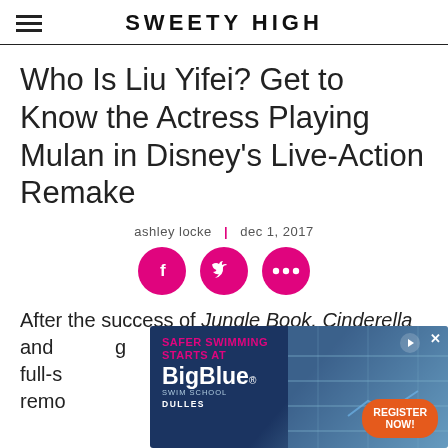SWEETY HIGH
Who Is Liu Yifei? Get to Know the Actress Playing Mulan in Disney's Live-Action Remake
ashley locke | dec 1, 2017
[Figure (other): Social sharing buttons: Facebook, Twitter, and more (pink circles)]
After the success of Jungle Book, Cinderella and full-s remo
[Figure (other): BigBlue Swim School advertisement - Safer Swimming Starts At BigBlue, Dulles, Register Now button]